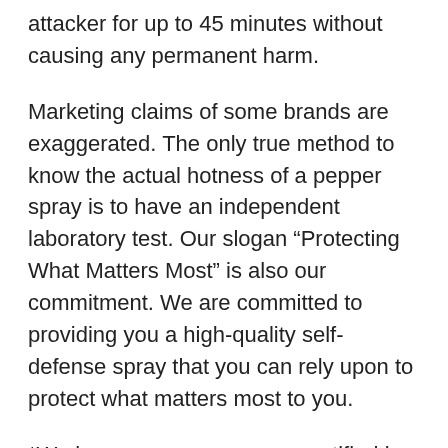attacker for up to 45 minutes without causing any permanent harm.
Marketing claims of some brands are exaggerated. The only true method to know the actual hotness of a pepper spray is to have an independent laboratory test. Our slogan “Protecting What Matters Most” is also our commitment. We are committed to providing you a high-quality self-defense spray that you can rely upon to protect what matters most to you.
*We have our pepper spray certified by the same independent laboratory (Chromtec LLC) that has been used by pepper spray manufacturers and the US Government for over 40 years. This certificate is available upon...